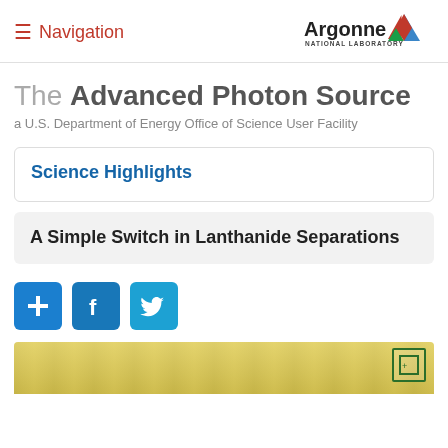≡ Navigation | Argonne National Laboratory
The Advanced Photon Source
a U.S. Department of Energy Office of Science User Facility
Science Highlights
A Simple Switch in Lanthanide Separations
[Figure (infographic): Social sharing buttons: Add (+), Facebook (f), Twitter bird icon]
[Figure (photo): Partial view of a yellowish liquid or material in a container]